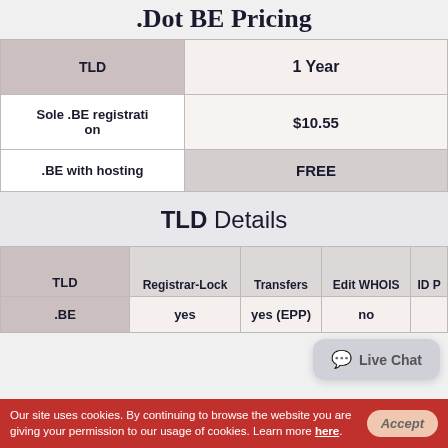.Dot BE Pricing
| TLD | 1 Year |
| --- | --- |
| Sole .BE registration | $10.55 |
| .BE with hosting | FREE |
TLD Details
| TLD | Registrar-Lock | Transfers | Edit WHOIS | ID P... |
| --- | --- | --- | --- | --- |
| .BE | yes | yes (EPP) | no |  |
Our site uses cookies. By continuing to browse the website you are giving your permission to our usage of cookies. Learn more here.